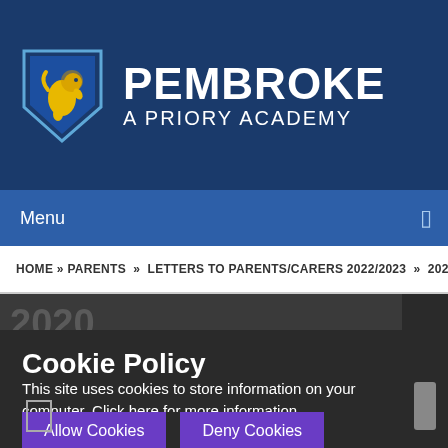[Figure (logo): Pembroke A Priory Academy shield logo — blue shield with yellow/gold rampant lion]
PEMBROKE A PRIORY ACADEMY
Menu
HOME » PARENTS » LETTERS TO PARENTS/CARERS 2022/2023 » 2020
Cookie Policy
This site uses cookies to store information on your computer. Click here for more information
Allow Cookies   Deny Cookies